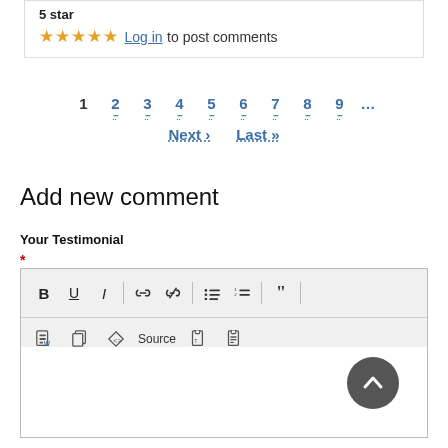5 star
★★★★★ Log in to post comments
1 2 3 4 5 6 7 8 9 … Next › Last »
Add new comment
Your Testimonial
[Figure (screenshot): Rich text editor toolbar with bold, underline, italic, link, unlink, bullet list, numbered list, blockquote, paste from word, copy, source, paste, paste as text buttons, and an empty text area below]